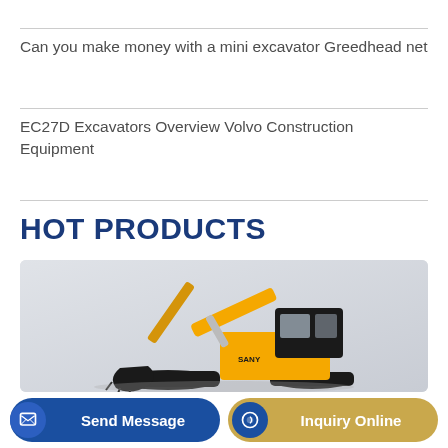Can you make money with a mini excavator Greedhead net
EC27D Excavators Overview Volvo Construction Equipment
HOT PRODUCTS
[Figure (photo): Yellow mini excavator with black cab and bucket attachment on a grey/white background]
Send Message
Inquiry Online